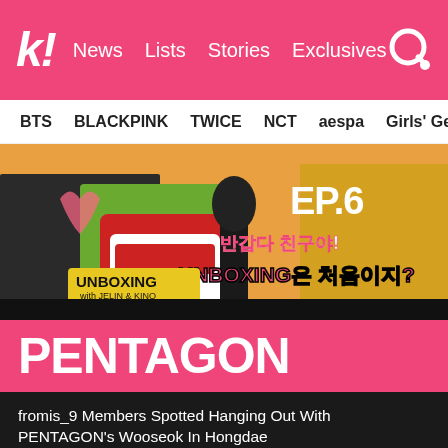k! News Lists Stories Exclusives
BTS BLACKPINK TWICE NCT aespa Girls' Generation
[Figure (screenshot): YouTube thumbnail for 'UNBOXING with JELIN & KINO' EP.6, showing two K-pop performers and Korean text reading '반갑다 친구야! UNBOXING은 처음이지?']
PENTAGON
fromis_9 Members Spotted Hanging Out With PENTAGON's Wooseok In Hongdae
Red Velvet's Seulgi Slays at Kino from PENTAGON's #POSE_Challenge